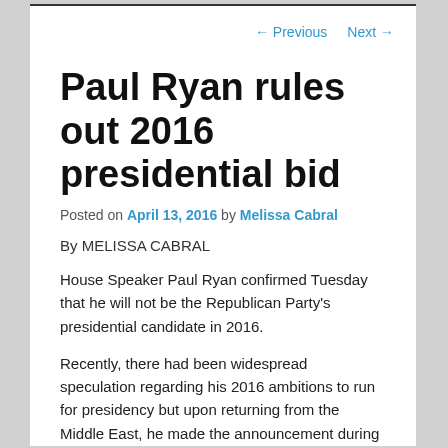← Previous   Next →
Paul Ryan rules out 2016 presidential bid
Posted on April 13, 2016 by Melissa Cabral
By MELISSA CABRAL
House Speaker Paul Ryan confirmed Tuesday that he will not be the Republican Party's presidential candidate in 2016.
Recently, there had been widespread speculation regarding his 2016 ambitions to run for presidency but upon returning from the Middle East, he made the announcement during a speech in Capitol Hill.